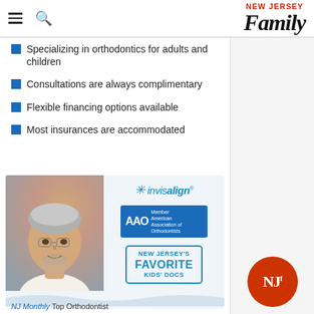New Jersey Family
Specializing in orthodontics for adults and children
Consultations are always complimentary
Flexible financing options available
Most insurances are accommodated
[Figure (photo): Photo of Howard B. Bobrow DMD PA with logos for Invisalign, AAO American Association of Orthodontists, and New Jersey's Favorite Kids' Docs]
NJ Monthly Top Orthodontist
Howard B. Bobrow, DMD, PA
NJ Specialty #3831
18 Madison Ave., Madison • 973-377-6879